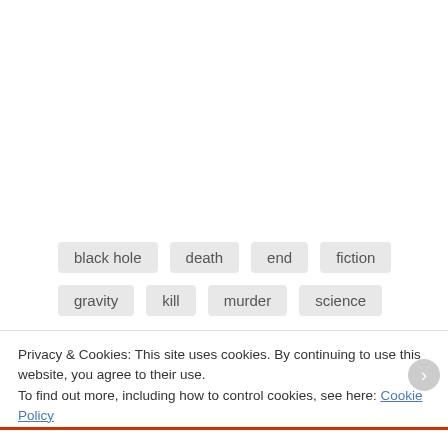black hole   death   end   fiction
gravity   kill   murder   science
Privacy & Cookies: This site uses cookies. By continuing to use this website, you agree to their use.
To find out more, including how to control cookies, see here: Cookie Policy
Close and accept